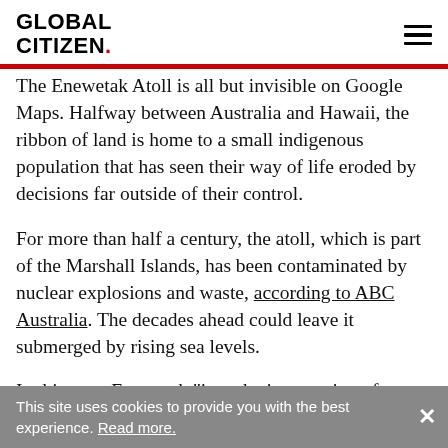GLOBAL CITIZEN.
The Enewetak Atoll is all but invisible on Google Maps. Halfway between Australia and Hawaii, the ribbon of land is home to a small indigenous population that has seen their way of life eroded by decisions far outside of their control.
For more than half a century, the atoll, which is part of the Marshall Islands, has been contaminated by nuclear explosions and waste, according to ABC Australia. The decades ahead could leave it submerged by rising sea levels.
In this way, Enewetak "is at the intersection of two of the biggest problems of the last century
This site uses cookies to provide you with the best experience. Read more.